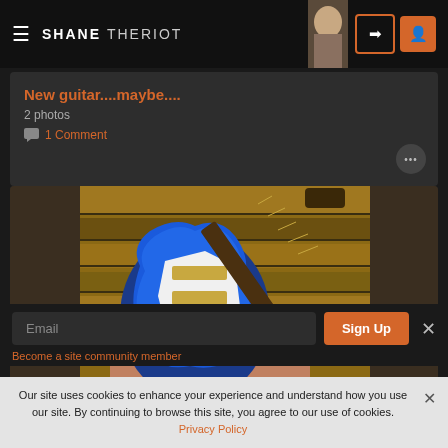SHANE THERIOT
New guitar....maybe....
2 photos
1 Comment
[Figure (photo): Blue electric guitar (Stratocaster style) being held over wooden pallet boards]
Email
Sign Up
Become a site community member
Our site uses cookies to enhance your experience and understand how you use our site. By continuing to browse this site, you agree to our use of cookies. Privacy Policy